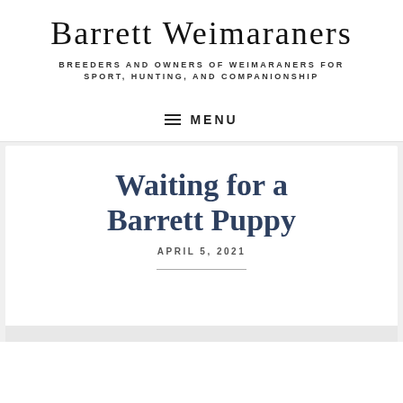Barrett Weimaraners
BREEDERS AND OWNERS OF WEIMARANERS FOR SPORT, HUNTING, AND COMPANIONSHIP
MENU
Waiting for a Barrett Puppy
APRIL 5, 2021